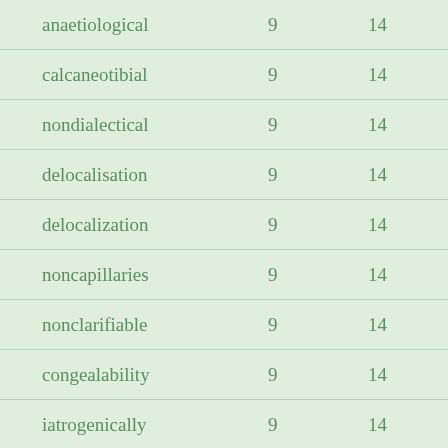| anaetiological | 9 | 14 |
| calcaneotibial | 9 | 14 |
| nondialectical | 9 | 14 |
| delocalisation | 9 | 14 |
| delocalization | 9 | 14 |
| noncapillaries | 9 | 14 |
| nonclarifiable | 9 | 14 |
| congealability | 9 | 14 |
| iatrogenically | 9 | 14 |